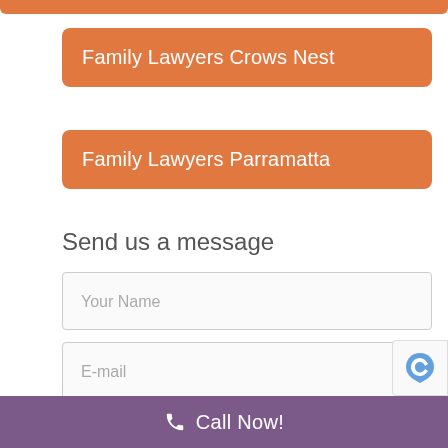Family Lawyers Crows Nest
Family Lawyers Parramatta
Send us a message
Your Name
E-mail
Phone
Call Now!